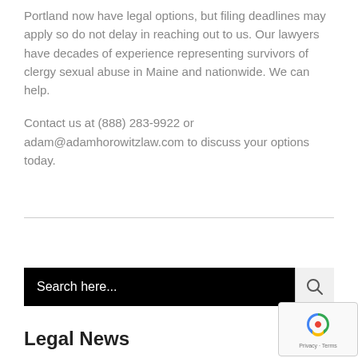Portland now have legal options, but filing deadlines may apply so do not delay in reaching out to us. Our lawyers have decades of experience representing survivors of clergy sexual abuse in Maine and nationwide. We can help.
Contact us at (888) 283-9922 or adam@adamhorowitzlaw.com to discuss your options today.
[Figure (other): Search bar with black background and magnifying glass icon]
[Figure (other): reCAPTCHA badge with Google logo, Privacy and Terms text]
Legal News